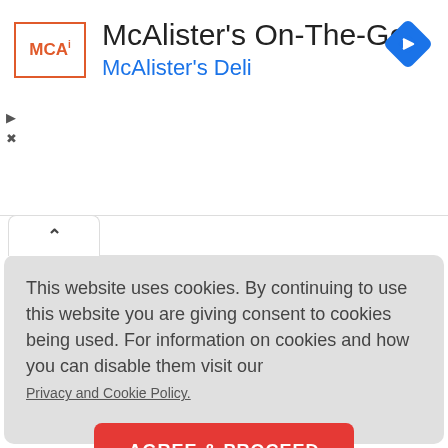[Figure (logo): McAlister's On-The-Go app ad banner with MCA logo, app name, McAlister's Deli subtitle, and a blue navigation diamond icon]
This website uses cookies. By continuing to use this website you are giving consent to cookies being used. For information on cookies and how you can disable them visit our
Privacy and Cookie Policy.
AGREE & PROCEED